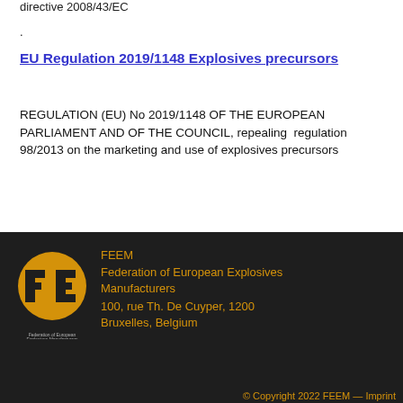directive 2008/43/EC
.
EU Regulation 2019/1148 Explosives precursors
REGULATION (EU) No 2019/1148 OF THE EUROPEAN PARLIAMENT AND OF THE COUNCIL, repealing regulation 98/2013 on the marketing and use of explosives precursors
[Figure (logo): FEEM Federation of European Explosives Manufacturers circular logo in orange on dark background]
FEEM
Federation of European Explosives Manufacturers
100, rue Th. De Cuyper, 1200 Bruxelles, Belgium
© Copyright 2022 FEEM — Imprint